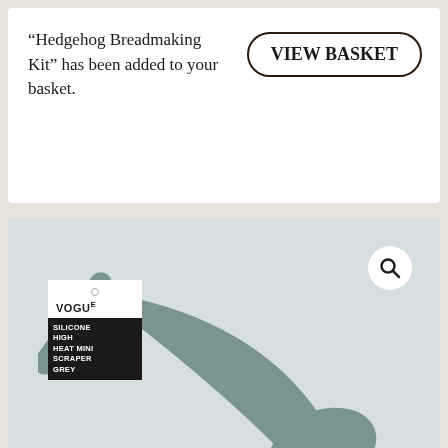“Hedgehog Breadmaking Kit” has been added to your basket.
[Figure (screenshot): VIEW BASKET button with rounded border]
[Figure (photo): Grey silicone high heat mini scraper by Vogue on a light blue-grey background, with product tag showing brand name VOGUE and label text: SILICONE HIGH HEAT MINI SCRAPER GREY]